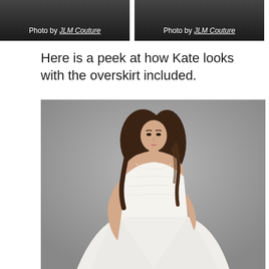[Figure (photo): Two side-by-side photos with dark/black gradient backgrounds, each captioned 'Photo by JLM Couture']
Photo by JLM Couture
Photo by JLM Couture
Here is a peek at how Kate looks with the overskirt included.
[Figure (photo): A model wearing a white strapless sweetheart ballgown wedding dress with lace bodice and full tulle skirt, standing against a gray background. Long dark wavy hair.]